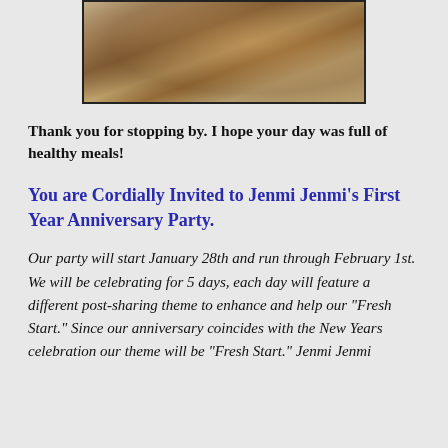[Figure (photo): Close-up photo of a food item, appears to be a pecan-topped pastry or bar on a white plate, partially visible at top of page]
Thank you for stopping by. I hope your day was full of healthy meals!
You are Cordially Invited to Jenmi Jenmi's First Year Anniversary Party.
Our party will start January 28th and run through February 1st. We will be celebrating for 5 days, each day will feature a different post-sharing theme to enhance and help our "Fresh Start." Since our anniversary coincides with the New Years celebration our theme will be "Fresh Start." Jenmi Jenmi